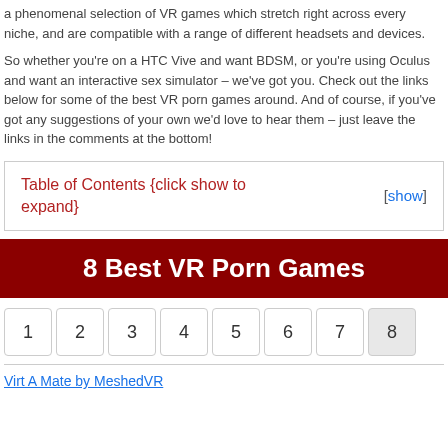a phenomenal selection of VR games which stretch right across every niche, and are compatible with a range of different headsets and devices.
So whether you're on a HTC Vive and want BDSM, or you're using Oculus and want an interactive sex simulator – we've got you. Check out the links below for some of the best VR porn games around. And of course, if you've got any suggestions of your own we'd love to hear them – just leave the links in the comments at the bottom!
Table of Contents {click show to expand}
8 Best VR Porn Games
1
2
3
4
5
6
7
8
Virt A Mate by MeshedVR